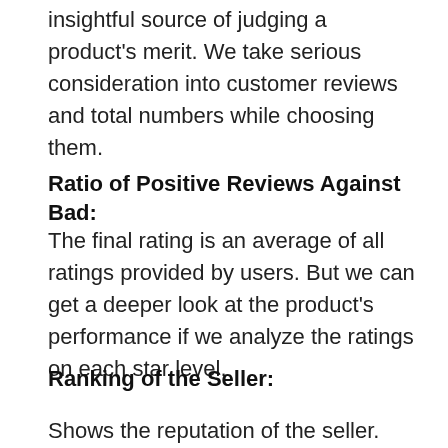insightful source of judging a product’s merit. We take serious consideration into customer reviews and total numbers while choosing them.
Ratio of Positive Reviews Against Bad:
The final rating is an average of all ratings provided by users. But we can get a deeper look at the product’s performance if we analyze the ratings on each star level.
Ranking of the Seller:
Shows the reputation of the seller. Even if you